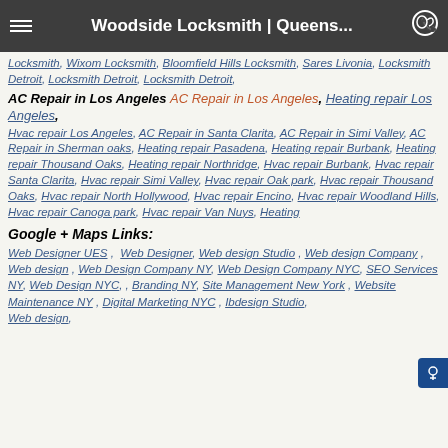Woodside Locksmith | Queens...
Locksmith, Wixom Locksmith, Bloomfield Hills Locksmith, Sares Livonia, Locksmith Detroit, Locksmith Detroit, Locksmith Detroit,
AC Repair in Los Angeles
AC Repair in Los Angeles, Heating repair Los Angeles, Hvac repair Los Angeles, AC Repair in Santa Clarita, AC Repair in Simi Valley, AC Repair in Sherman oaks, Heating repair Pasadena, Heating repair Burbank, Heating repair Thousand Oaks, Heating repair Northridge, Hvac repair Burbank, Hvac repair Santa Clarita, Hvac repair Simi Valley, Hvac repair Oak park, Hvac repair Thousand Oaks, Hvac repair North Hollywood, Hvac repair Encino, Hvac repair Woodland Hills, Hvac repair Canoga park, Hvac repair Van Nuys, Heating
Google + Maps Links:
Web Designer UES, Web Designer, Web design Studio, Web design Company, Web design, Web Design Company NY, Web Design Company NYC, SEO Services NY, Web Design NYC, , Branding NY, Site Management New York, Website Maintenance NY, Digital Marketing NYC, Ibdesign Studio, Web design,